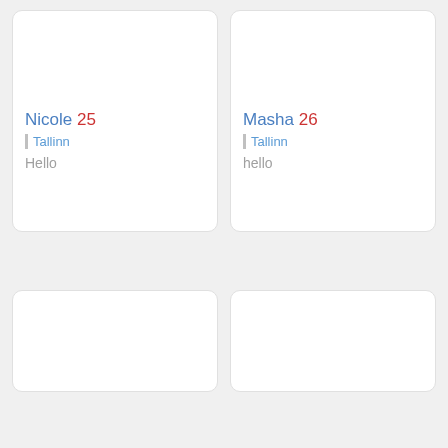Nicole 25
Tallinn
Hello
Masha 26
Tallinn
hello
[Figure (other): Empty card placeholder bottom left]
[Figure (other): Empty card placeholder bottom right]